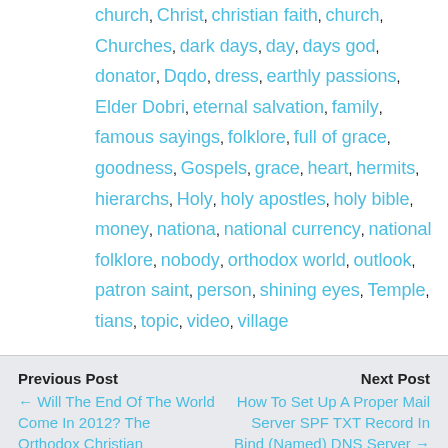church, Christ, christian faith, church, Churches, dark days, day, days god, donator, Dqdo, dress, earthly passions, Elder Dobri, eternal salvation, family, famous sayings, folklore, full of grace, goodness, Gospels, grace, heart, hermits, hierarchs, Holy, holy apostles, holy bible, money, nationa, national currency, national folklore, nobody, orthodox world, outlook, patron saint, person, shining eyes, Temple, tians, topic, video, village
Previous Post
← Will The End Of The World Come In 2012? The Orthodox Christian Perspective
Next Post
How To Set Up A Proper Mail Server SPF TXT Record In Bind (Named) DNS Server →
2 responses
jeffrey tablante
April 5, 2015
Google Chrome 41.0.2272.118  Windows NT